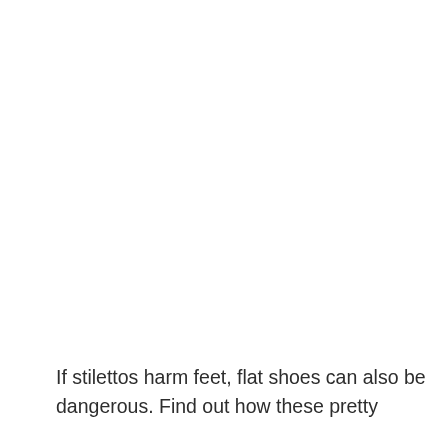If stilettos harm feet, flat shoes can also be dangerous. Find out how these pretty